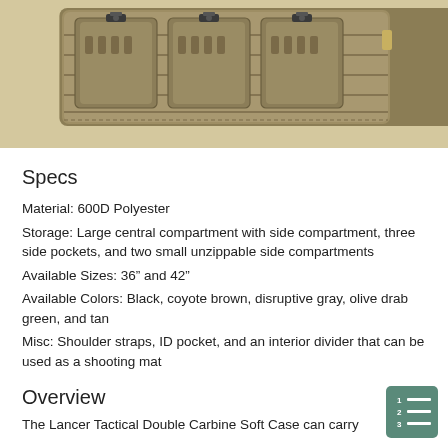[Figure (photo): Tan/coyote colored tactical double carbine soft gun case with multiple front pockets, MOLLE webbing, and buckle straps, shown from the front.]
Specs
Material: 600D Polyester
Storage: Large central compartment with side compartment, three side pockets, and two small unzippable side compartments
Available Sizes: 36” and 42”
Available Colors: Black, coyote brown, disruptive gray, olive drab green, and tan
Misc: Shoulder straps, ID pocket, and an interior divider that can be used as a shooting mat
Overview
The Lancer Tactical Double Carbine Soft Case can carry...